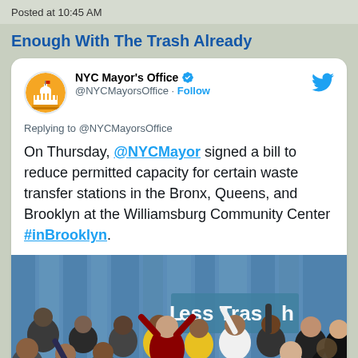Posted at 10:45 AM
Enough With The Trash Already
NYC Mayor's Office @NYCMayorsOffice · Follow
Replying to @NYCMayorsOffice
On Thursday, @NYCMayor signed a bill to reduce permitted capacity for certain waste transfer stations in the Bronx, Queens, and Brooklyn at the Williamsburg Community Center #inBrooklyn.
[Figure (photo): Group of people celebrating at what appears to be a bill signing event, with a banner reading 'Less Trash' visible in the background and blue curtains behind them.]